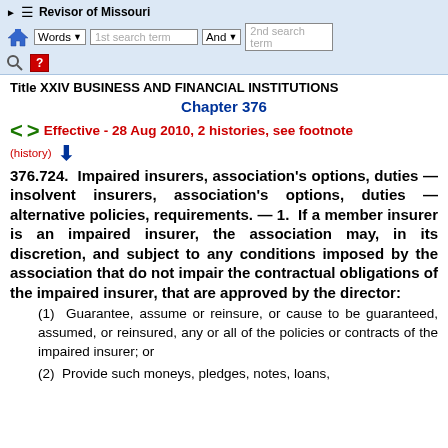Revisor of Missouri — navigation bar with search fields
Title XXIV BUSINESS AND FINANCIAL INSTITUTIONS
Chapter 376
Effective - 28 Aug 2010, 2 histories, see footnote (history)
376.724. Impaired insurers, association's options, duties — insolvent insurers, association's options, duties — alternative policies, requirements. — 1. If a member insurer is an impaired insurer, the association may, in its discretion, and subject to any conditions imposed by the association that do not impair the contractual obligations of the impaired insurer, that are approved by the director:
(1)  Guarantee, assume or reinsure, or cause to be guaranteed, assumed, or reinsured, any or all of the policies or contracts of the impaired insurer; or
(2)  Provide such moneys, pledges, notes, loans,